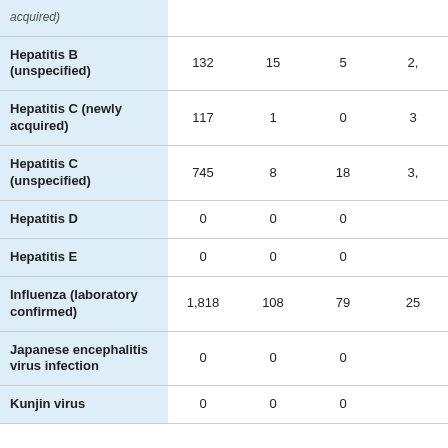| Disease | Col2 | Col3 | Col4 | Col5 |
| --- | --- | --- | --- | --- |
| acquired) |  |  |  |  |
| Hepatitis B (unspecified) | 132 | 15 | 5 | 2, |
| Hepatitis C (newly acquired) | 117 | 1 | 0 | 3 |
| Hepatitis C (unspecified) | 745 | 8 | 18 | 3, |
| Hepatitis D | 0 | 0 | 0 |  |
| Hepatitis E | 0 | 0 | 0 |  |
| Influenza (laboratory confirmed) | 1,818 | 108 | 79 | 25 |
| Japanese encephalitis virus infection | 0 | 0 | 0 |  |
| Kunjin virus | 0 | 0 | 0 |  |